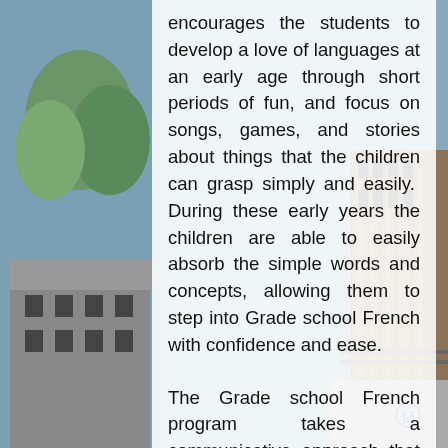[Figure (photo): Background photo of a school building exterior with blue sky and trees, partially visible on left and right sides behind a white text panel.]
encourages the students to develop a love of languages at an early age through short periods of fun, and focus on songs, games, and stories about things that the children can grasp simply and easily.  During these early years the children are able to easily absorb the simple words and concepts, allowing them to step into Grade school French with confidence and ease.
The Grade school French program takes a communicative approach that seeks to offer all the grades the opportunity to interact regularly in the French language.  Students are encouraged to have the confidence to speak to the teacher, their peers, and